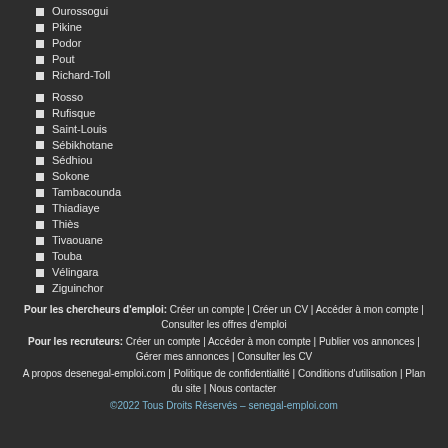Ourossogui
Pikine
Podor
Pout
Richard-Toll
Rosso
Rufisque
Saint-Louis
Sébikhotane
Sédhiou
Sokone
Tambacounda
Thiadiaye
Thiès
Tivaouane
Touba
Vélingara
Ziguinchor
Pour les chercheurs d'emploi: Créer un compte | Créer un CV | Accéder à mon compte | Consulter les offres d'emploi Pour les recruteurs: Créer un compte | Accéder à mon compte | Publier vos annonces | Gérer mes annonces | Consulter les CV A propos desenegal-emploi.com | Politique de confidentialité | Conditions d'utilisation | Plan du site | Nous contacter
©2022 Tous Droits Réservés – senegal-emploi.com